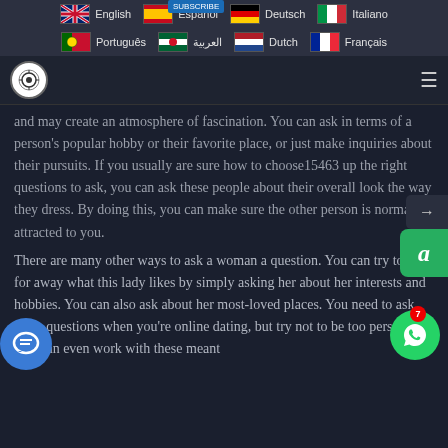English  Español  Deutsch  Italiano  Português  العربية  Dutch  Français
[Figure (screenshot): Navigation bar with logo icon and hamburger menu]
and may create an atmosphere of fascination. You can ask in terms of a person's popular hobby or their favorite place, or just make inquiries about their pursuits. If you usually are sure how to choose15463 up the right questions to ask, you can ask these people about their overall look the way they dress. By doing this, you can make sure the other person is normally attracted to you.
There are many other ways to ask a woman a question. You can try to look for away what this lady likes by simply asking her about her interests and hobbies. You can also ask about her most-loved places. You need to ask these questions when you're online dating, but try not to be too personal. You can even work with these meant